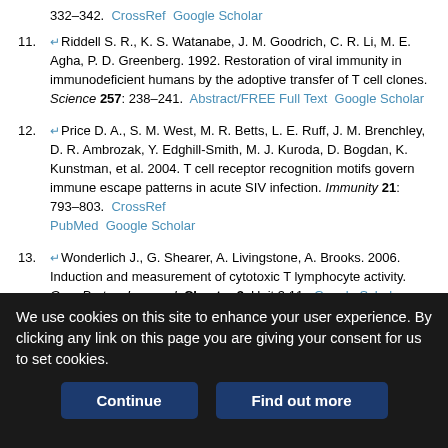332–342. CrossRef Google Scholar
11. ↵Riddell S. R., K. S. Watanabe, J. M. Goodrich, C. R. Li, M. E. Agha, P. D. Greenberg. 1992. Restoration of viral immunity in immunodeficient humans by the adoptive transfer of T cell clones. Science 257: 238–241. Abstract/FREE Full Text Google Scholar
12. ↵Price D. A., S. M. West, M. R. Betts, L. E. Ruff, J. M. Brenchley, D. R. Ambrozak, Y. Edghill-Smith, M. J. Kuroda, D. Bogdan, K. Kunstman, et al. 2004. T cell receptor recognition motifs govern immune escape patterns in acute SIV infection. Immunity 21: 793–803. CrossRef PubMed Google Scholar
13. ↵Wonderlich J., G. Shearer, A. Livingstone, A. Brooks. 2006. Induction and measurement of cytotoxic T lymphocyte activity. Curr. Protoc. Immunol. Chapter 3: Unit 3 11. Google Scholar
We use cookies on this site to enhance your user experience. By clicking any link on this page you are giving your consent for us to set cookies.